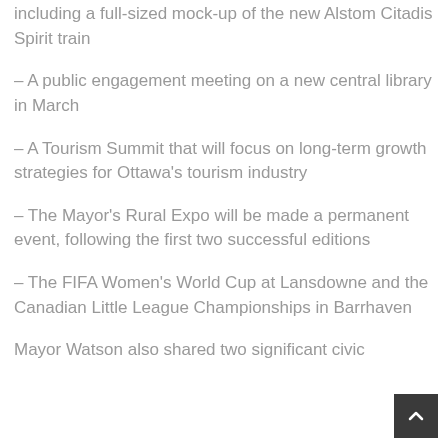including a full-sized mock-up of the new Alstom Citadis Spirit train
– A public engagement meeting on a new central library in March
– A Tourism Summit that will focus on long-term growth strategies for Ottawa's tourism industry
– The Mayor's Rural Expo will be made a permanent event, following the first two successful editions
– The FIFA Women's World Cup at Lansdowne and the Canadian Little League Championships in Barrhaven
Mayor Watson also shared two significant civic